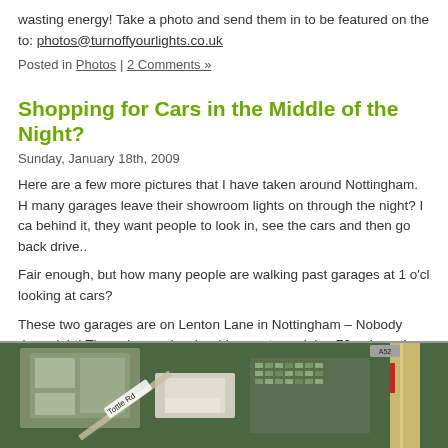wasting energy! Take a photo and send them in to be featured on the to: photos@turnoffyourlights.co.uk
Posted in Photos | 2 Comments »
Shopping for Cars in the Middle of the Night?
Sunday, January 18th, 2009
Here are a few more pictures that I have taken around Nottingham. H many garages leave their showroom lights on through the night? I ca behind it, they want people to look in, see the cars and then go back drive..
Fair enough, but how many people are walking past garages at 1 o'cl looking at cars?
These two garages are on Lenton Lane in Nottingham – Nobody dare night! The only people who drive past are doing 70mph on the A52 Ri
[Figure (map): Aerial satellite map view of Lenton Lane area in Nottingham, showing roads including Tottle Rd, buildings, parking lots, and a road on the right side.]